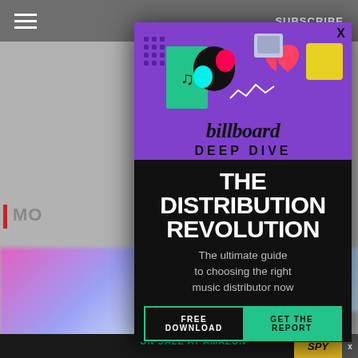☰   SUBSCRIBE
[Figure (illustration): Billboard Deep Dive modal advertisement popup over a music website. Purple top section with TikTok logo, music icons, heart, satellite dish illustration. Billboard logo. Black section with 'THE DISTRIBUTION REVOLUTION' title, subtitle text, and two-part button.]
THE DISTRIBUTION REVOLUTION
The ultimate guide to choosing the right music distributor now
FREE DOWNLOAD   GET THE REPORT
ON SALE AT AMAZON